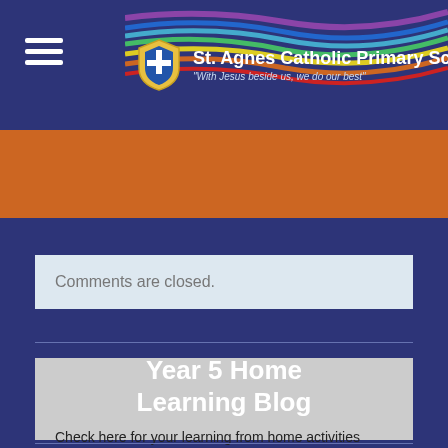St. Agnes Catholic Primary School — "With Jesus beside us, we do our best"
[Figure (other): Orange decorative banner bar]
Comments are closed.
Year 5 Home Learning Blog
Check here for your learning from home activities